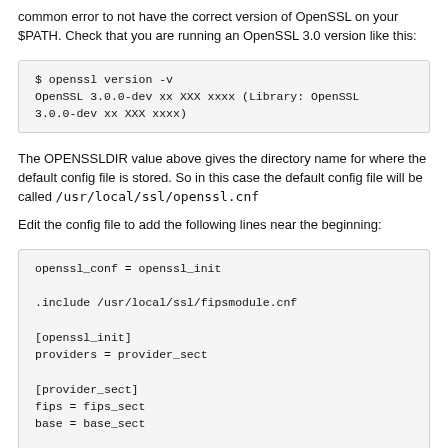common error to not have the correct version of OpenSSL on your $PATH. Check that you are running an OpenSSL 3.0 version like this:
$ openssl version -v
OpenSSL 3.0.0-dev xx XXX xxxx (Library: OpenSSL 3.0.0-dev xx XXX xxxx)
The OPENSSLDIR value above gives the directory name for where the default config file is stored. So in this case the default config file will be called /usr/local/ssl/openssl.cnf
Edit the config file to add the following lines near the beginning:
openssl_conf = openssl_init

.include /usr/local/ssl/fipsmodule.cnf

[openssl_init]
providers = provider_sect

[provider_sect]
fips = fips_sect
base = base_sect

[base_sect]
activate = 1